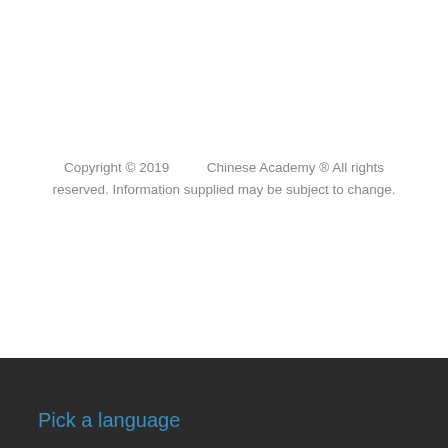Copyright © 2019          Chinese Academy ® All rights reserved. Information supplied may be subject to change.
Pick a language